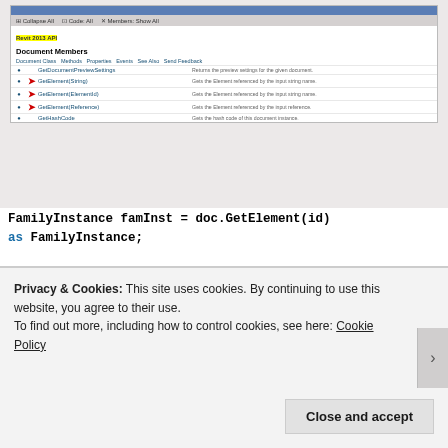[Figure (screenshot): Screenshot of a documentation page showing Document Members section with methods like GetDocumentPreviewSettings, GetElement(String), GetElement(ElementId), GetElement(Reference), GetHashCode listed in a table with descriptions. Some items are highlighted in red arrows.]
FamilyInstance famInst = doc.GetElement(id) as FamilyInstance;
In 2012, there was only one way to call the Document.GetElement method and that was with a reference.
In 2013, the input to GetElement can be a string (the element name), the element id, or the element reference. My code used the element id. This is fine for 2013 but not in 2012, where the input needs to be a reference.
Privacy & Cookies: This site uses cookies. By continuing to use this website, you agree to their use.
To find out more, including how to control cookies, see here: Cookie Policy